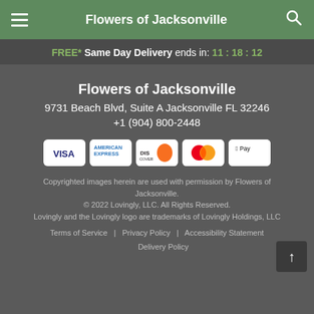Flowers of Jacksonville
FREE* Same Day Delivery ends in: 11 : 18 : 12
Flowers of Jacksonville
9731 Beach Blvd, Suite A Jacksonville FL 32246
+1 (904) 800-2448
[Figure (logo): Payment method icons: VISA, American Express, Discover, Mastercard, Apple Pay]
Copyrighted images herein are used with permission by Flowers of Jacksonville.
© 2022 Lovingly, LLC. All Rights Reserved.
Lovingly and the Lovingly logo are trademarks of Lovingly Holdings, LLC
Terms of Service | Privacy Policy | Accessibility Statement | Delivery Policy